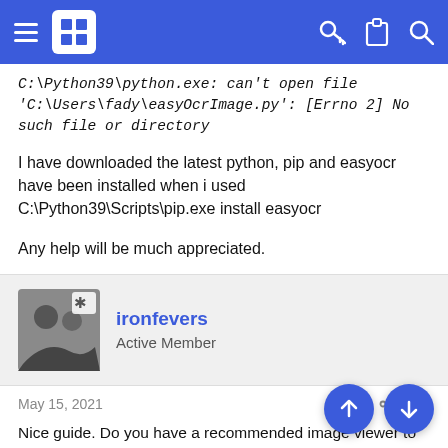Navigation bar with menu, logo, and icons
C:\Python39\python.exe: can't open file 'C:\Users\fady\easyOcrImage.py': [Errno 2] No such file or directory
I have downloaded the latest python, pip and easyocr have been installed when i used C:\Python39\Scripts\pip.exe install easyocr
Any help will be much appreciated.
ironfevers
Active Member
May 15, 2021
#3
Nice guide. Do you have a recommended image viewer to delete blanks? It's kinda tedious to manually delete blanks. I was thinking you can click Create TXTImages which automatically d s b Then you can run a script to compare to see if the RGBImage filename is in the same list as TXTImages, if they're the same then